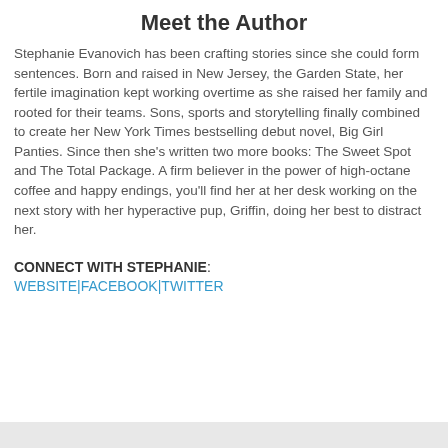Meet the Author
Stephanie Evanovich has been crafting stories since she could form sentences. Born and raised in New Jersey, the Garden State, her fertile imagination kept working overtime as she raised her family and rooted for their teams. Sons, sports and storytelling finally combined to create her New York Times bestselling debut novel, Big Girl Panties. Since then she's written two more books: The Sweet Spot and The Total Package. A firm believer in the power of high-octane coffee and happy endings, you'll find her at her desk working on the next story with her hyperactive pup, Griffin, doing her best to distract her.
CONNECT WITH STEPHANIE: WEBSITE|FACEBOOK|TWITTER